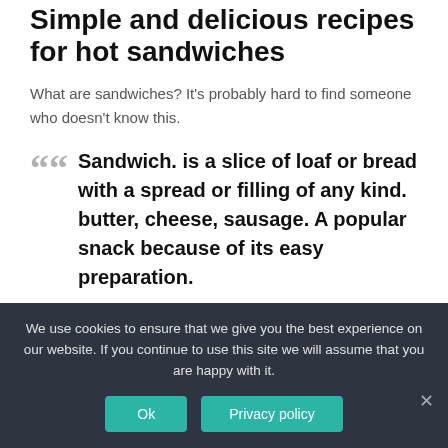Simple and delicious recipes for hot sandwiches
What are sandwiches? It's probably hard to find someone who doesn't know this.
Sandwich. is a slice of loaf or bread with a spread or filling of any kind. butter, cheese, sausage. A popular snack because of its easy preparation.
Source Wikipedia
Hot sandwiches, hearty and very tasty. Many families use
We use cookies to ensure that we give you the best experience on our website. If you continue to use this site we will assume that you are happy with it.